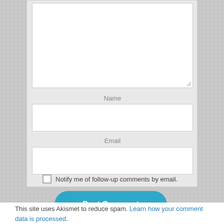[Figure (screenshot): Web comment form with text area (partially visible at top), Name field label and input, Email field label and input, a checkbox with label 'Notify me of follow-up comments by email.', and a blue 'Post Comment' button.]
Name
Email
Notify me of follow-up comments by email.
Post Comment
This site uses Akismet to reduce spam. Learn how your comment data is processed.